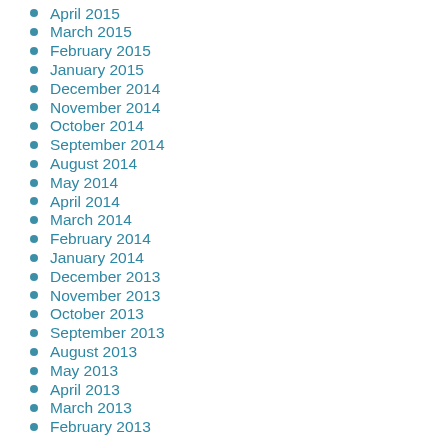April 2015
March 2015
February 2015
January 2015
December 2014
November 2014
October 2014
September 2014
August 2014
May 2014
April 2014
March 2014
February 2014
January 2014
December 2013
November 2013
October 2013
September 2013
August 2013
May 2013
April 2013
March 2013
February 2013